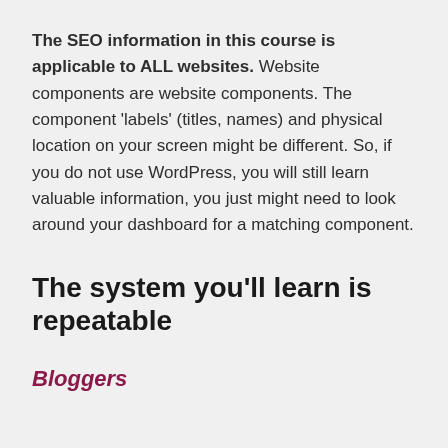The SEO information in this course is applicable to ALL websites. Website components are website components. The component 'labels' (titles, names) and physical location on your screen might be different. So, if you do not use WordPress, you will still learn valuable information, you just might need to look around your dashboard for a matching component.
The system you'll learn is repeatable
Bloggers